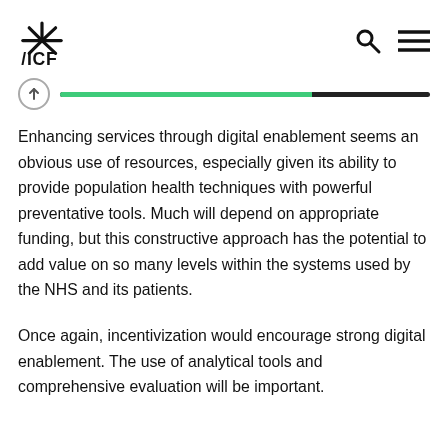ICF logo with navigation icons
Enhancing services through digital enablement seems an obvious use of resources, especially given its ability to provide population health techniques with powerful preventative tools. Much will depend on appropriate funding, but this constructive approach has the potential to add value on so many levels within the systems used by the NHS and its patients.
Once again, incentivization would encourage strong digital enablement. The use of analytical tools and comprehensive evaluation will be important.